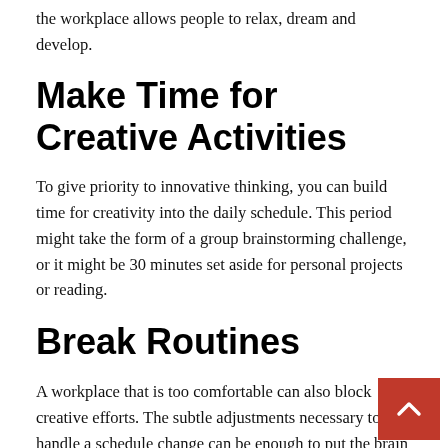the workplace allows people to relax, dream and develop.
Make Time for Creative Activities
To give priority to innovative thinking, you can build time for creativity into the daily schedule. This period might take the form of a group brainstorming challenge, or it might be 30 minutes set aside for personal projects or reading.
Break Routines
A workplace that is too comfortable can also block creative efforts. The subtle adjustments necessary to handle a schedule change can be enough to put the brain into problem-solving mode. Rearranging the layout of the workplace will also create small challenges.
Great ideas do not just belong to a few exceptional individu… Anyone can improve their creative efforts by setting aside time